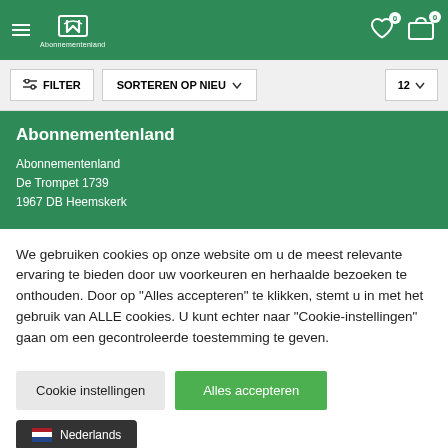Abonnementenland – website header with hamburger menu, logo, wishlist (0) and cart (0)
FILTER   SORTEREN OP NIEU ∨   12 ∨
Abonnementenland
Abonnementenland
De Trompet 1739
1967 DB Heemskerk
We gebruiken cookies op onze website om u de meest relevante ervaring te bieden door uw voorkeuren en herhaalde bezoeken te onthouden. Door op "Alles accepteren" te klikken, stemt u in met het gebruik van ALLE cookies. U kunt echter naar "Cookie-instellingen" gaan om een gecontroleerde toestemming te geven.
Cookie instellingen   Alles accepteren
🇳🇱 Nederlands